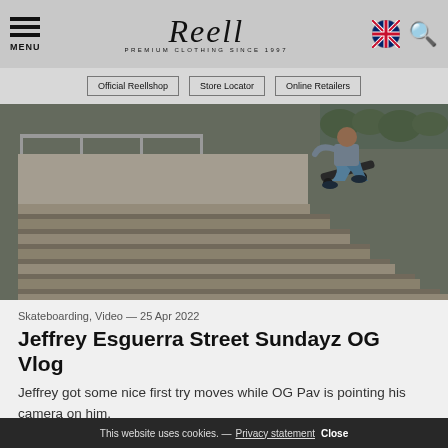MENU | Reell PREMIUM CLOTHING SINCE 1997
Official Reellshop
Store Locator
Online Retailers
[Figure (photo): Skateboarder mid-air performing a trick over a staircase set at an outdoor location. The skater is wearing blue jeans and dark shoes.]
Skateboarding, Video — 25 Apr 2022
Jeffrey Esguerra Street Sundayz OG Vlog
Jeffrey got some nice first try moves while OG Pav is pointing his camera on him.
This website uses cookies. — Privacy statement Close